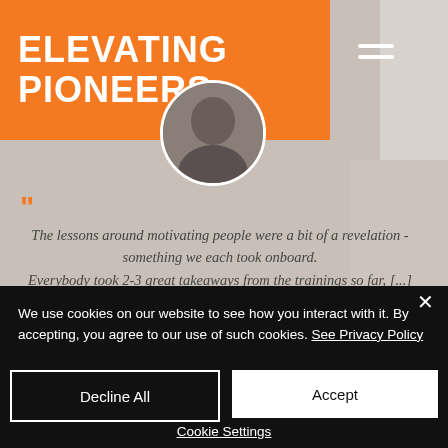ELEVATING PIONEERS
[Figure (photo): Circular profile photo of a person in dark clothing against a light background]
The lessons around motivating people were a bit of a revelation - something we each took onboard. Everybody took 2-3 great takeaways from the trainings so far, [...] it's been a great success.
Gareth Shaw - GM of Global
We use cookies on our website to see how you interact with it. By accepting, you agree to our use of such cookies. See Privacy Policy
Decline All
Accept
Cookie Settings